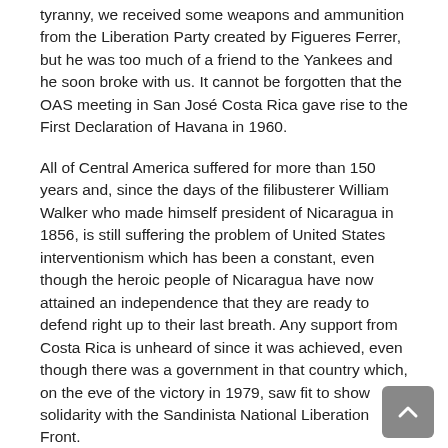tyranny, we received some weapons and ammunition from the Liberation Party created by Figueres Ferrer, but he was too much of a friend to the Yankees and he soon broke with us. It cannot be forgotten that the OAS meeting in San José Costa Rica gave rise to the First Declaration of Havana in 1960.
All of Central America suffered for more than 150 years and, since the days of the filibusterer William Walker who made himself president of Nicaragua in 1856, is still suffering the problem of United States interventionism which has been a constant, even though the heroic people of Nicaragua have now attained an independence that they are ready to defend right up to their last breath. Any support from Costa Rica is unheard of since it was achieved, even though there was a government in that country which, on the eve of the victory in 1979, saw fit to show solidarity with the Sandinista National Liberation Front.
When Nicaragua was being drained of its life blood in